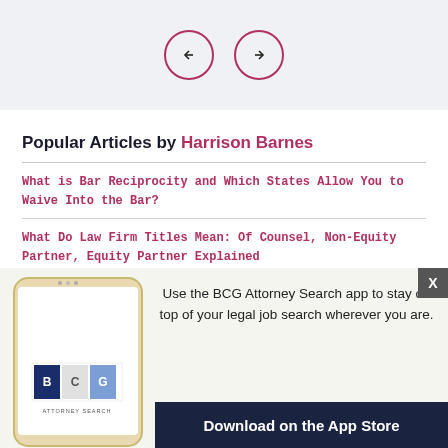[Figure (illustration): Navigation carousel with back and forward arrow buttons in crimson outlined circles on a light grey background]
Popular Articles by Harrison Barnes
What is Bar Reciprocity and Which States Allow You to Waive Into the Bar?
What Do Law Firm Titles Mean: Of Counsel, Non-Equity Partner, Equity Partner Explained
[Figure (screenshot): BCG Attorney Search mobile app promotional banner showing a smartphone with the BCG Attorney Search logo and the text: Use the BCG Attorney Search app to stay on top of your legal job search wherever you are. Download on the App Store]